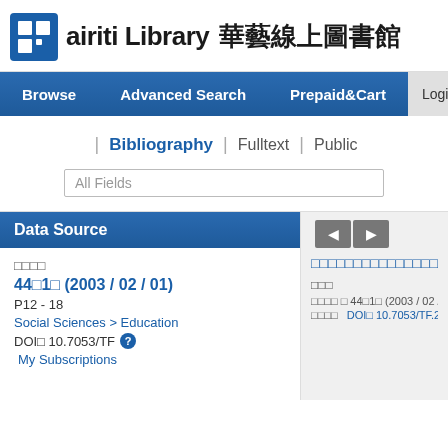[Figure (logo): airiti Library logo with blue square icon and Chinese text 華藝線上圖書館]
Browse | Advanced Search | Prepaid&Cart | Login | Sign
| Bibliography | Fulltext | Public
All Fields
Data Source
□□□□
44□1□ (2003 / 02 / 01)
P12 - 18
Social Sciences > Education
DOI□ 10.7053/TF ?
My Subscriptions
□□□□□□□□□□□□□□□
□□□
□□□□ □ 44□1□ (2003 / 02 / 01) □ P12
□□□□  DOI□ 10.7053/TF.200302